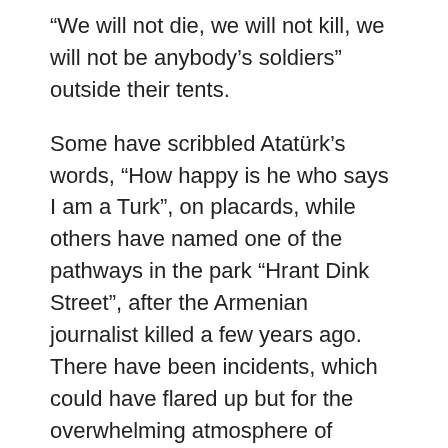“We will not die, we will not kill, we will not be anybody’s soldiers” outside their tents.
Some have scribbled Atatürk’s words, “How happy is he who says I am a Turk”, on placards, while others have named one of the pathways in the park “Hrant Dink Street”, after the Armenian journalist killed a few years ago. There have been incidents, which could have flared up but for the overwhelming atmosphere of goodwill, when individuals wrapped in the Turkish flag complained about pictures of Abdullah Öcalan, imprisoned leader of the Kurdish nationalist PKK, displayed by the Kurdish contingent in the park.
Away from the park, on the demonstrations in the more middle-class neighbourhoods of Istanbul, and in Ankara and Izmir, the Turkish flag and Atatürk’s image have